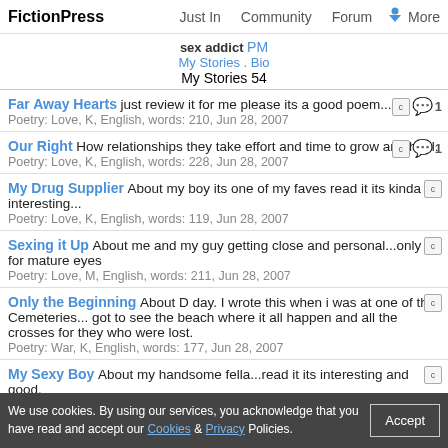FictionPress | Just In | Community | Forum | More
sex addict PM
My Stories . Bio
My Stories 54
Far Away Hearts just review it for me please its a good poem...
Poetry: Love, K, English, words: 210, Jun 28, 2007
Our Right How relationships they take effort and time to grow and heal.
Poetry: Love, K, English, words: 228, Jun 28, 2007
My Drug Supplier About my boy its one of my faves read it its kinda interesting...
Poetry: Love, K, English, words: 119, Jun 28, 2007
Sexing it Up About me and my guy getting close and personal...only for mature eyes
Poetry: Love, M, English, words: 211, Jun 28, 2007
Only the Beginning About D day. I wrote this when i was at one of the Cemeteries... got to see the beach where it all happen and all the crosses for they who were lost.
Poetry: War, K, English, words: 177, Jun 28, 2007
My Sexy Boy About my handsome fella...read it its interesting and good.
Poetry: Love, T, English, words: 191, Jun 28, 2007
We use cookies. By using our services, you acknowledge that you have read and accept our Cookies & Privacy Policies.